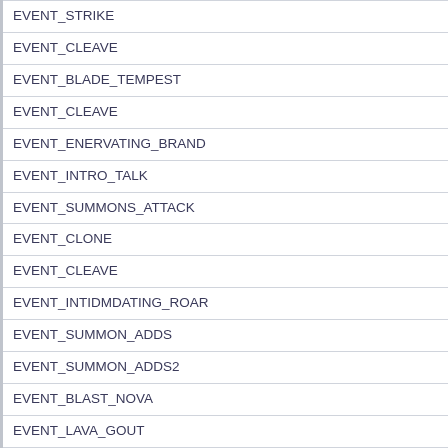| EVENT_STRIKE |
| EVENT_CLEAVE |
| EVENT_BLADE_TEMPEST |
| EVENT_CLEAVE |
| EVENT_ENERVATING_BRAND |
| EVENT_INTRO_TALK |
| EVENT_SUMMONS_ATTACK |
| EVENT_CLONE |
| EVENT_CLEAVE |
| EVENT_INTIDMDATING_ROAR |
| EVENT_SUMMON_ADDS |
| EVENT_SUMMON_ADDS2 |
| EVENT_BLAST_NOVA |
| EVENT_LAVA_GOUT |
| EVENT_ACTIVATE_FIREWALL |
| EVENT_CLEAVE |
| EVENT_BREATH |